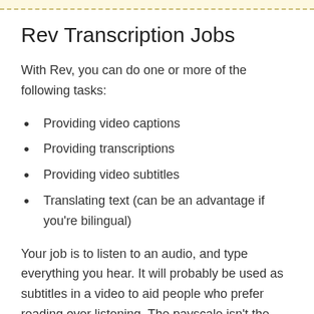Rev Transcription Jobs
With Rev, you can do one or more of the following tasks:
Providing video captions
Providing transcriptions
Providing video subtitles
Translating text (can be an advantage if you're bilingual)
Your job is to listen to an audio, and type everything you hear. It will probably be used as subtitles in a video to aid people who prefer reading over listening. The payscale isn't the best either. Don't expect to